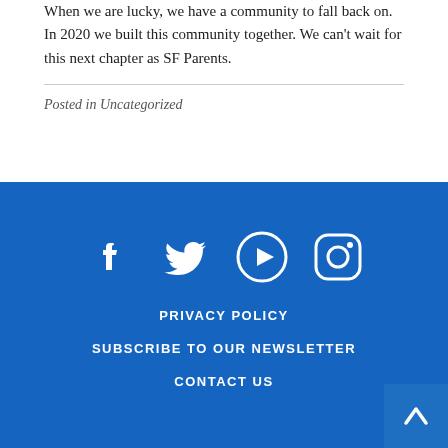When we are lucky, we have a community to fall back on. In 2020 we built this community together. We can't wait for this next chapter as SF Parents.
Posted in Uncategorized
[Figure (infographic): Footer section with blue background containing social media icons (Facebook, Twitter, YouTube, Instagram), links for Privacy Policy, Subscribe to Our Newsletter, and Contact Us, plus a back-to-top arrow button.]